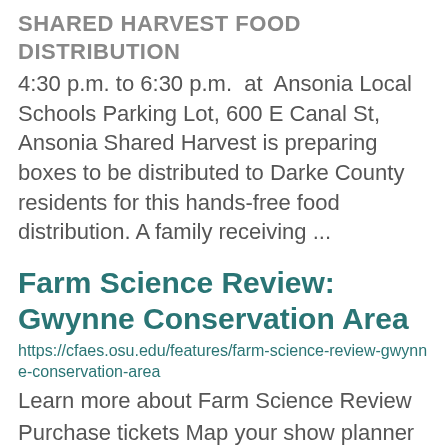SHARED HARVEST FOOD DISTRIBUTION
4:30 p.m. to 6:30 p.m.  at  Ansonia Local Schools Parking Lot, 600 E Canal St, Ansonia Shared Harvest is preparing boxes to be distributed to Darke County residents for this hands-free food distribution. A family receiving ...
Farm Science Review: Gwynne Conservation Area
https://cfaes.osu.edu/features/farm-science-review-gwynne-conservation-area
Learn more about Farm Science Review
Purchase tickets Map your show planner
Cabin Talks Tuesday, Sept 20 Time Topic